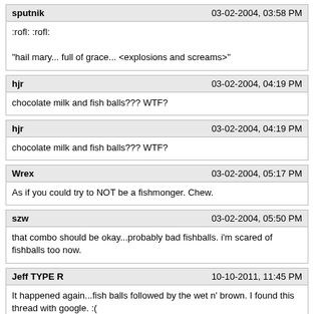sputnik | 03-02-2004, 03:58 PM
:rofl: :rofl:
"hail mary... full of grace... <explosions and screams>"
hjr | 03-02-2004, 04:19 PM
chocolate milk and fish balls??? WTF?
hjr | 03-02-2004, 04:19 PM
chocolate milk and fish balls??? WTF?
Wrex | 03-02-2004, 05:17 PM
As if you could try to NOT be a fishmonger. Chew.
szw | 03-02-2004, 05:50 PM
that combo should be okay...probably bad fishballs. i'm scared of fishballs too now.
Jeff TYPE R | 10-10-2011, 11:45 PM
It happened again...fish balls followed by the wet n' brown. I found this thread with google. :(
ExtraSlow | 10-11-2011, 07:55 AM
Where's Toilet_D when you need him?